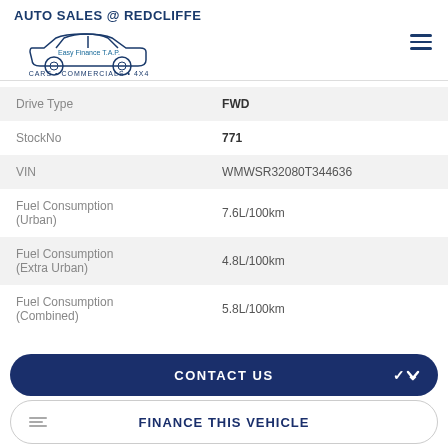AUTO SALES @ REDCLIFFE — CARS • COMMERCIALS • 4X4
| Field | Value |
| --- | --- |
| Drive Type | FWD |
| StockNo | 771 |
| VIN | WMWSR32080T344636 |
| Fuel Consumption (Urban) | 7.6L/100km |
| Fuel Consumption (Extra Urban) | 4.8L/100km |
| Fuel Consumption (Combined) | 5.8L/100km |
CONTACT US
FINANCE THIS VEHICLE